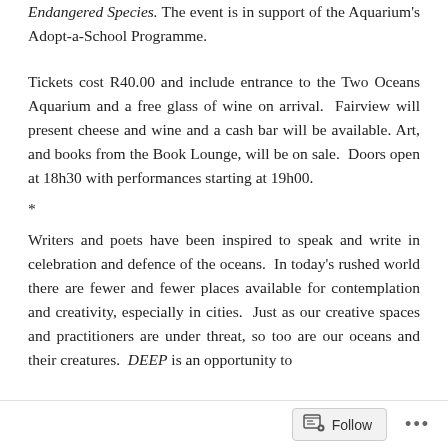Endangered Species. The event is in support of the Aquarium's Adopt-a-School Programme.
Tickets cost R40.00 and include entrance to the Two Oceans Aquarium and a free glass of wine on arrival. Fairview will present cheese and wine and a cash bar will be available. Art, and books from the Book Lounge, will be on sale. Doors open at 18h30 with performances starting at 19h00.
*
Writers and poets have been inspired to speak and write in celebration and defence of the oceans. In today's rushed world there are fewer and fewer places available for contemplation and creativity, especially in cities. Just as our creative spaces and practitioners are under threat, so too are our oceans and their creatures. DEEP is an opportunity to celebrate the oceans and ocean of South Africa's most...
Follow